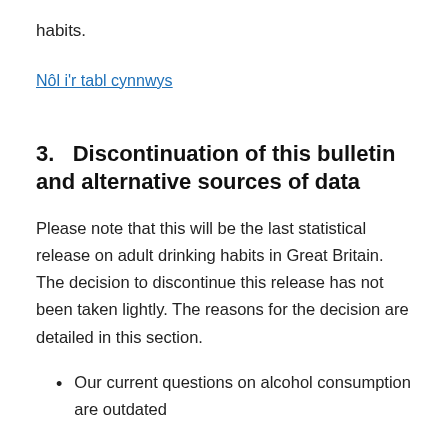habits.
Nôl i'r tabl cynnwys
3.   Discontinuation of this bulletin and alternative sources of data
Please note that this will be the last statistical release on adult drinking habits in Great Britain. The decision to discontinue this release has not been taken lightly. The reasons for the decision are detailed in this section.
Our current questions on alcohol consumption are outdated